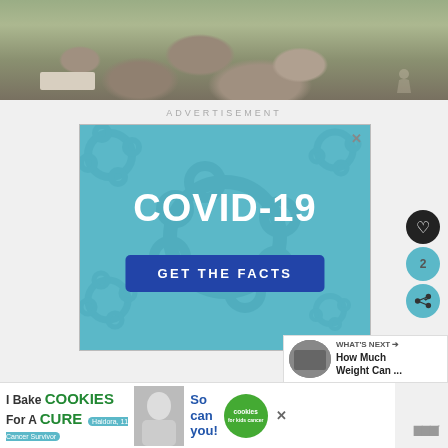[Figure (photo): Top portion of a news/article page showing a photo of rocky rubble/excavation site with a grave marker stone and a figure in the background on the right.]
ADVERTISEMENT
[Figure (infographic): COVID-19 advertisement banner with teal background, virus illustrations, large white text reading COVID-19, and a dark blue button saying GET THE FACTS. Has an X close button in the top right corner.]
[Figure (infographic): WHAT'S NEXT arrow - How Much Weight Can ... sidebar widget with thumbnail image.]
[Figure (infographic): Bottom banner advertisement: I Bake COOKIES For A CURE - Haidora, 11 Cancer Survivor - So can you! cookies for kids cancer - with close X button and MW logo on right.]